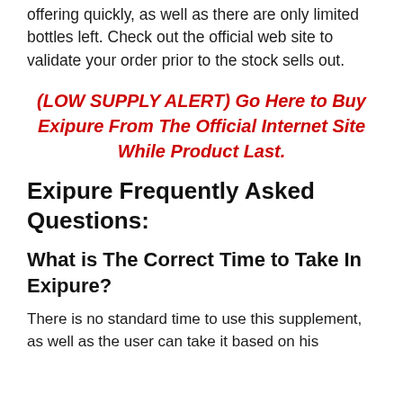offering quickly, as well as there are only limited bottles left. Check out the official web site to validate your order prior to the stock sells out.
(LOW SUPPLY ALERT) Go Here to Buy Exipure From The Official Internet Site While Product Last.
Exipure Frequently Asked Questions:
What is The Correct Time to Take In Exipure?
There is no standard time to use this supplement, as well as the user can take it based on his